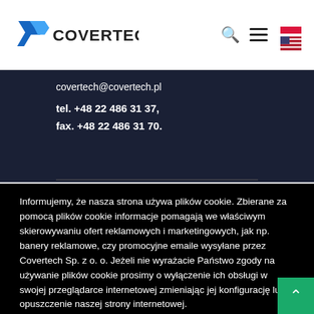[Figure (logo): Covertech logo with blue angular shape and bold text COVERTECH]
covertech@covertech.pl
tel. +48 22 486 31 37,
fax. +48 22 486 31 70.
Informujemy, że nasza strona używa plików cookie. Zbierane za pomocą plików cookie informacje pomagają we właściwym skierowywaniu ofert reklamowych i marketingowych, jak np. banery reklamowe, czy promocyjne emaile wysyłane przez Covertech Sp. z o. o. Jeżeli nie wyrażacie Państwo zgody na używanie plików cookie prosimy o wyłączenie ich obsługi w swojej przeglądarce internetowej zmieniając jej konfigurację lub opuszczenie naszej strony internetowej.
Ustawienia ciasteczek
ACCEPT